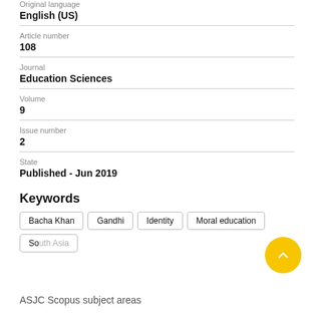Original language
English (US)
Article number
108
Journal
Education Sciences
Volume
9
Issue number
2
State
Published - Jun 2019
Keywords
Bacha Khan
Gandhi
Identity
Moral education
South Asia
ASJC Scopus subject areas